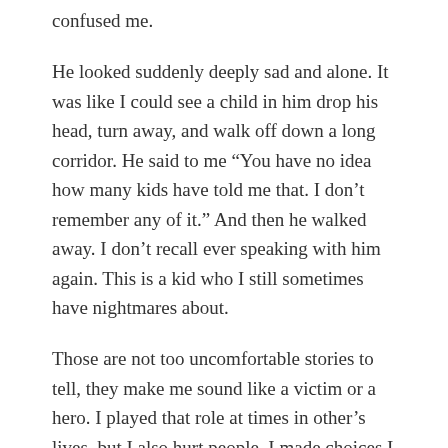confused me.
He looked suddenly deeply sad and alone. It was like I could see a child in him drop his head, turn away, and walk off down a long corridor. He said to me “You have no idea how many kids have told me that. I don’t remember any of it.” And then he walked away. I don’t recall ever speaking with him again. This is a kid who I still sometimes have nightmares about.
Those are not too uncomfortable stories to tell, they make me sound like a victim or a hero. I played that role at times in other’s lives, but I also hurt people. I made choices I now regret, I was not honest with people, I used the little power that I did have in ways that excluded and hurt others. Most of us have power